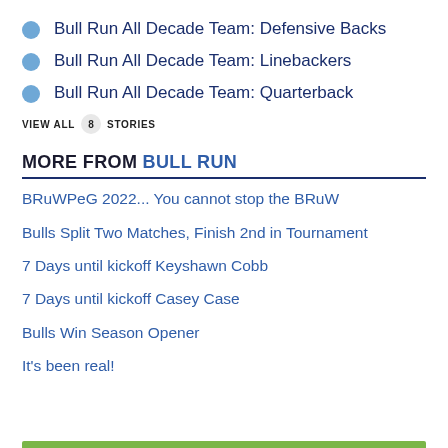Bull Run All Decade Team: Defensive Backs
Bull Run All Decade Team: Linebackers
Bull Run All Decade Team: Quarterback
VIEW ALL 8 STORIES
MORE FROM BULL RUN
BRuWPeG 2022... You cannot stop the BRuW
Bulls Split Two Matches, Finish 2nd in Tournament
7 Days until kickoff Keyshawn Cobb
7 Days until kickoff Casey Case
Bulls Win Season Opener
It's been real!